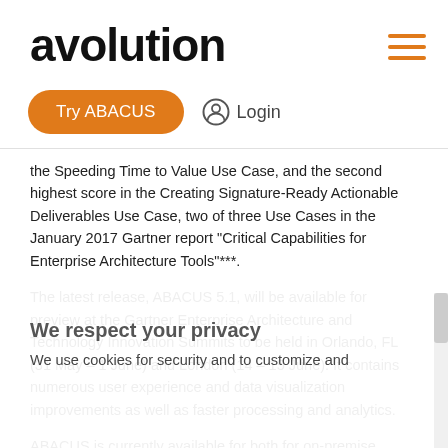[Figure (logo): avolution logo in bold dark text]
[Figure (other): Hamburger menu icon with orange lines]
[Figure (other): Try ABACUS orange button and Login link in page header]
the Speeding Time to Value Use Case, and the second highest score in the Creating Signature-Ready Actionable Deliverables Use Case, two of three Use Cases in the January 2017 Gartner report “Critical Capabilities for Enterprise Architecture Tools”***.
The latest release, ABACUS 5.1, will be available for preview at the Gartner Enterprise Architecture and Technology Innovation Summits to be held in Orlando, FL (31 May – 1 June) and London (14 – 15 June). It contains numerous user experience and data visualization improvements as well as faster processing and analytics.
ABACUS is currently available for both for on-premise, cloud (as a browser-based web-app), or hybrid deployments. Free 30-day
We respect your privacy
We use cookies for security and to customize and